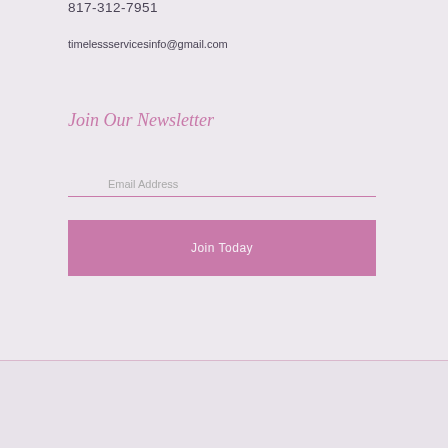817-312-7951
timelessservicesinfo@gmail.com
Join Our Newsletter
Email Address
Join Today
© 2022, Timeless Health and Beauty. All Rights Reserved.